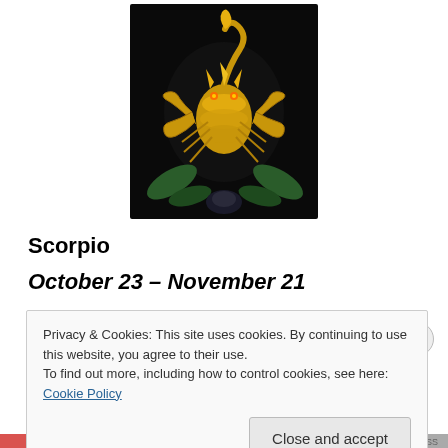[Figure (illustration): Golden scorpion illustration with dark background, decorative leaves, glowing gold coloring]
Scorpio
October 23 – November 21
Someone new is going to steal your thunder. Bribe everyone you know to stay on your side.
Privacy & Cookies: This site uses cookies. By continuing to use this website, you agree to their use.
To find out more, including how to control cookies, see here: Cookie Policy
Close and accept